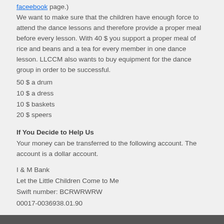faceebook page.)  We want to make sure that the children have enough force to attend the dance lessons and therefore provide a proper meal before every lesson. With 40 $ you support a proper meal of rice and beans and a tea for every member in one dance lesson. LLCCM also wants to buy equipment for the dance group in order to be successful.
50 $ a drum
10 $ a dress
10 $ baskets
20 $ speers
If You Decide to Help Us
Your money can be transferred to the following account. The account is a dollar account.
I & M Bank
Let the Little Children Come to Me
Swift number: BCRWRWRW
00017-0036938.01.90